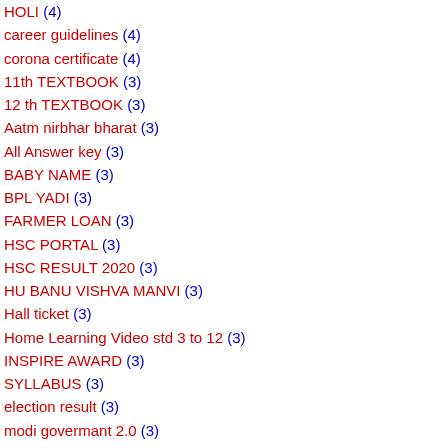HOLI (4)
career guidelines (4)
corona certificate (4)
11th TEXTBOOK (3)
12 th TEXTBOOK (3)
Aatm nirbhar bharat (3)
All Answer key (3)
BABY NAME (3)
BPL YADI (3)
FARMER LOAN (3)
HSC PORTAL (3)
HSC RESULT 2020 (3)
HU BANU VISHVA MANVI (3)
Hall ticket (3)
Home Learning Video std 3 to 12 (3)
INSPIRE AWARD (3)
SYLLABUS (3)
election result (3)
modi govermant 2.0 (3)